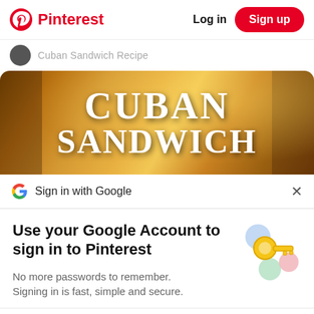Pinterest  Log in  Sign up
Cuban Sandwich Recipe
[Figure (photo): Photo of a Cuban sandwich with large white text overlay reading CUBAN SANDWICH]
Sign in with Google
Use your Google Account to sign in to Pinterest
No more passwords to remember.
Signing in is fast, simple and secure.
[Figure (illustration): Google sign-in illustration with a golden key and colorful circles]
Continue